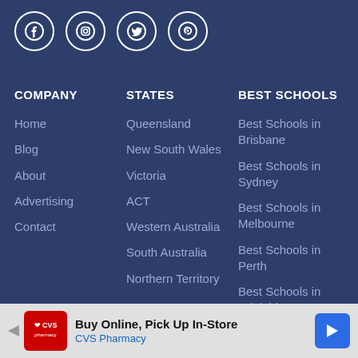[Figure (other): Social media icons: Facebook, Instagram, Twitter, Pinterest in circular white-bordered buttons on dark navy background]
COMPANY
Home
Blog
About
Advertising
Contact
STATES
Queensland
New South Wales
Victoria
ACT
Western Australia
South Australia
Northern Territory
BEST SCHOOLS
Best Schools in Brisbane
Best Schools in Sydney
Best Schools in Melbourne
Best Schools in Perth
Best Schools in Adelaide
Best Schools in
[Figure (other): CVS Pharmacy advertisement banner: Buy Online, Pick Up In-Store with CVS Pharmacy logo and navigation arrow icon]